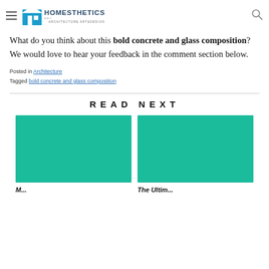Homesthetics – Architecture Art & Design
What do you think about this bold concrete and glass composition? We would love to hear your feedback in the comment section below.
Posted in Architecture
Tagged bold concrete and glass composition
READ NEXT
[Figure (photo): Teal/green placeholder image for first Read Next article]
[Figure (photo): Teal/green placeholder image for second Read Next article]